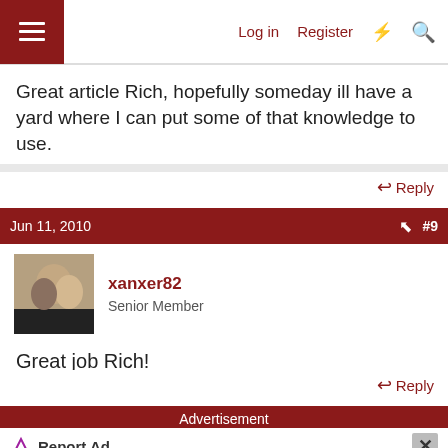Log in  Register
Great article Rich, hopefully someday ill have a yard where I can put some of that knowledge to use.
Reply
Jun 11, 2010  #9
xanxer82
Senior Member
Great job Rich!
Reply
Advertisement
Report Ad
[Figure (screenshot): Advertisement image showing outdoor scene with Hold and Move text overlay]